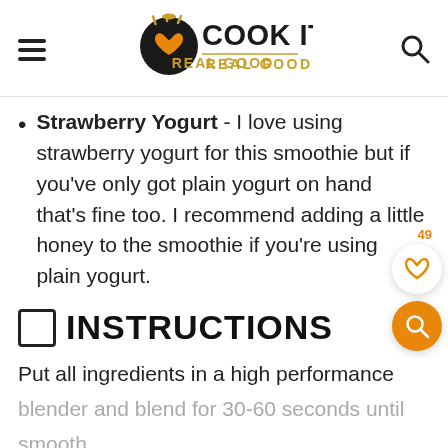Cook It Real Good
Strawberry Yogurt - I love using strawberry yogurt for this smoothie but if you've only got plain yogurt on hand that's fine too. I recommend adding a little honey to the smoothie if you're using plain yogurt.
INSTRUCTIONS
Put all ingredients in a high performance blender and blend for 30-60 seconds until smooth.